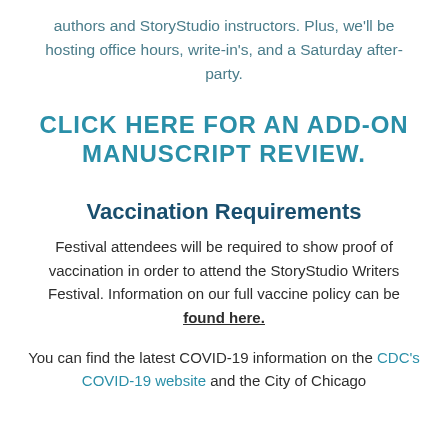authors and StoryStudio instructors. Plus, we'll be hosting office hours, write-in's, and a Saturday after-party.
CLICK HERE FOR AN ADD-ON MANUSCRIPT REVIEW.
Vaccination Requirements
Festival attendees will be required to show proof of vaccination in order to attend the StoryStudio Writers Festival. Information on our full vaccine policy can be found here.
You can find the latest COVID-19 information on the CDC's COVID-19 website and the City of Chicago